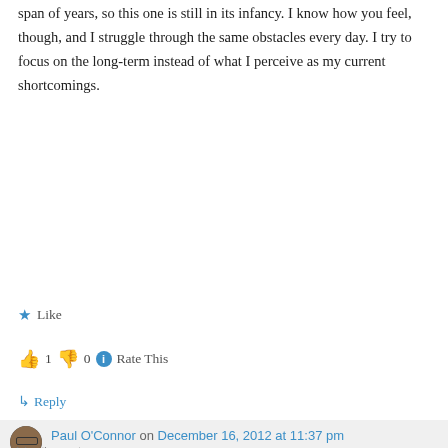span of years, so this one is still in its infancy. I know how you feel, though, and I struggle through the same obstacles every day. I try to focus on the long-term instead of what I perceive as my current shortcomings.
★ Like
👍 1  👎 0  ℹ Rate This
↳ Reply
Paul O'Connor on December 16, 2012 at 11:37 pm
Advertisements
[Figure (photo): Macy's advertisement banner: KISS BORING LIPS GOODBYE with SHOP NOW button and Macy's star logo, featuring a woman's face with red lips]